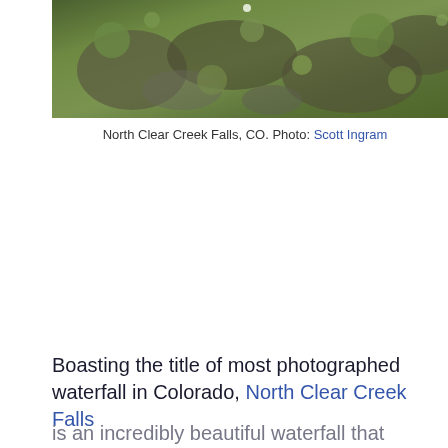[Figure (photo): Aerial or close-up photo of North Clear Creek Falls area showing green mossy rocks and vegetation in Colorado]
North Clear Creek Falls, CO. Photo: Scott Ingram
Boasting the title of most photographed waterfall in Colorado, North Clear Creek Falls is an incredibly beautiful waterfall that anyone can see. This impressive waterfall drops more